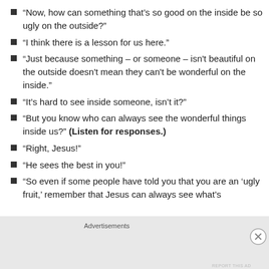“Now, how can something that’s so good on the inside be so ugly on the outside?”
“I think there is a lesson for us here.”
“Just because something – or someone – isn't beautiful on the outside doesn't mean they can't be wonderful on the inside.”
“It’s hard to see inside someone, isn’t it?”
“But you know who can always see the wonderful things inside us?” (Listen for responses.)
“Right, Jesus!”
“He sees the best in you!”
“So even if some people have told you that you are an ‘ugly fruit,’ remember that Jesus can always see what’s
Advertisements